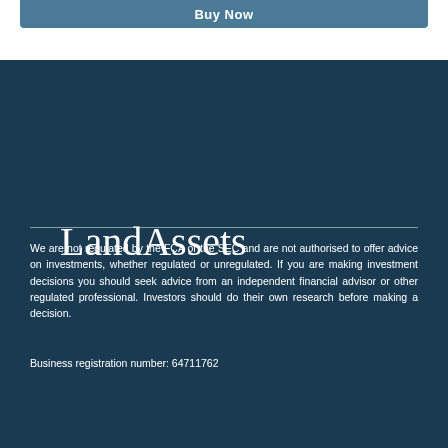Buy Now
LandAssets
We are not regulated by the FCA or the SEC and are not authorised to offer advice on investments, whether regulated or unregulated. If you are making investment decisions you should seek advice from an independent financial advisor or other regulated professional. Investors should do their own research before making a decision.
Business registration number: 64711762
Links